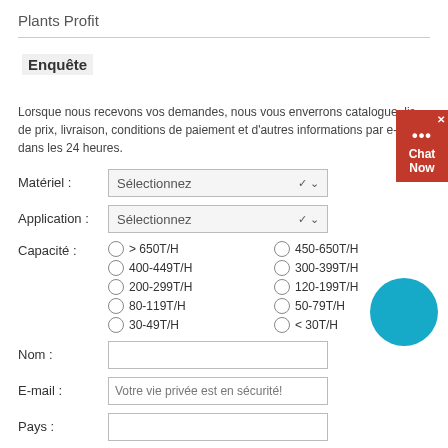Plants Profit
Enquête
Lorsque nous recevons vos demandes, nous vous enverrons catalogue, liste de prix, livraison, conditions de paiement et d'autres informations par e-mail dans les 24 heures.
Matériel : [dropdown: Sélectionnez]
Application : [dropdown: Sélectionnez]
Capacité : > 650T/H, 450-650T/H, 400-449T/H, 300-399T/H, 200-299T/H, 120-199T/H, 80-119T/H, 50-79T/H, 30-49T/H, < 30T/H
Nom : [text input]
E-mail : Votre vie privée est en sécurité!
Pays : [text input]